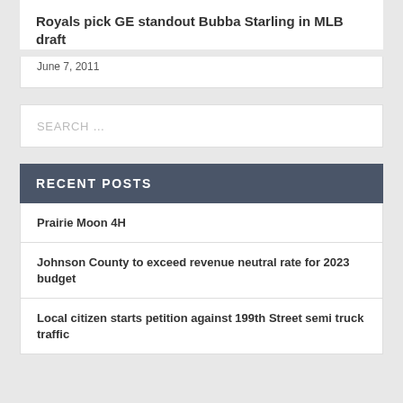Royals pick GE standout Bubba Starling in MLB draft
June 7, 2011
SEARCH ...
RECENT POSTS
Prairie Moon 4H
Johnson County to exceed revenue neutral rate for 2023 budget
Local citizen starts petition against 199th Street semi truck traffic